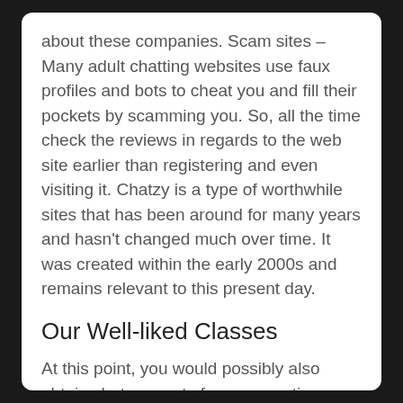about these companies. Scam sites – Many adult chatting websites use faux profiles and bots to cheat you and fill their pockets by scamming you. So, all the time check the reviews in regards to the web site earlier than registering and even visiting it. Chatzy is a type of worthwhile sites that has been around for many years and hasn't changed much over time. It was created within the early 2000s and remains relevant to this present day.
Our Well-liked Classes
At this point, you would possibly also obtain chat requests from energetic